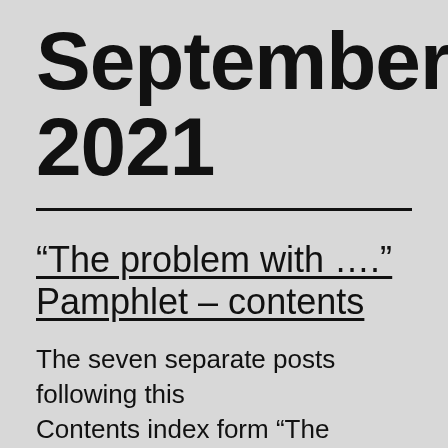September 2021
“The problem with ….” Pamphlet – contents
The seven separate posts following this Contents index form “The Problem with